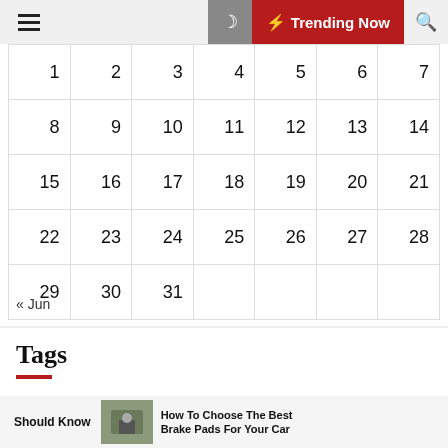Trending Now
| 1 | 2 | 3 | 4 | 5 | 6 | 7 |
| 8 | 9 | 10 | 11 | 12 | 13 | 14 |
| 15 | 16 | 17 | 18 | 19 | 20 | 21 |
| 22 | 23 | 24 | 25 | 26 | 27 | 28 |
| 29 | 30 | 31 |  |  |  |  |
« Jun
Tags
Should Know
How To Choose The Best Brake Pads For Your Car